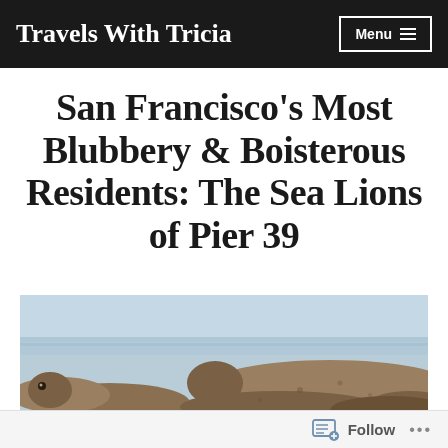Travels With Tricia  Menu
San Francisco's Most Blubbery & Boisterous Residents: The Sea Lions of Pier 39
[Figure (photo): Close-up photograph of sea lions resting on wooden docks at Pier 39, San Francisco, with light blue water visible in the background.]
Follow ...